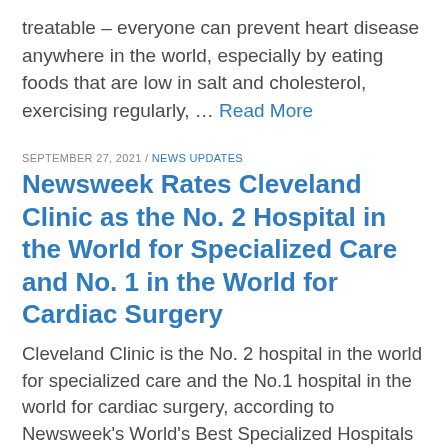treatable – everyone can prevent heart disease anywhere in the world, especially by eating foods that are low in salt and cholesterol, exercising regularly, … Read More
SEPTEMBER 27, 2021 / NEWS UPDATES
Newsweek Rates Cleveland Clinic as the No. 2 Hospital in the World for Specialized Care and No. 1 in the World for Cardiac Surgery
Cleveland Clinic is the No. 2 hospital in the world for specialized care and the No.1 hospital in the world for cardiac surgery, according to Newsweek's World's Best Specialized Hospitals of 2022.